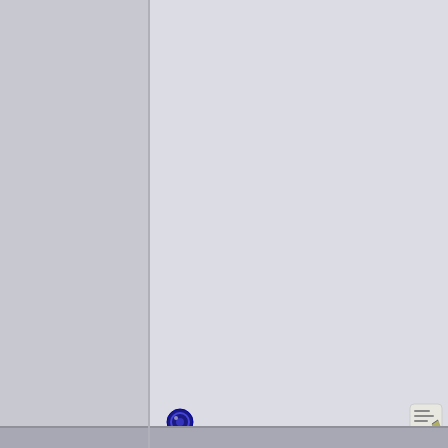You have a small TV station showing on your report on the hill just west of your house, KCKS-LD. Can you determine if it's on the air? Virtual channel 26, real channel 25. A small UHF Yagi would be fine, no preamp needed as should have plenty of signal.
That's interesting. The tower is a FM radio tower. There are various business sub leasing off that tower. I did not know there was a TV station transmitting off of it. Even if there sure cant think its that important.
Would I get any of the stations with me? I guess I would have to point the antenna away from the stations to try and pick those up I'm guess.
Thanks for the suggestion. I will look into getting a UHF antenna.